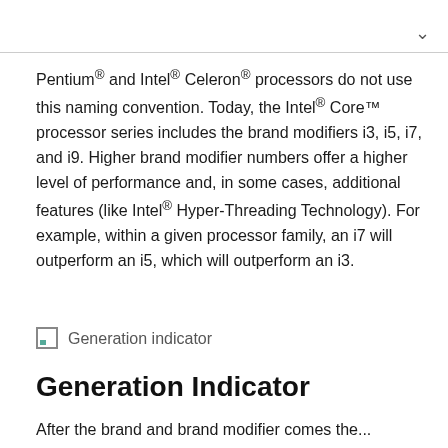Pentium® and Intel® Celeron® processors do not use this naming convention. Today, the Intel® Core™ processor series includes the brand modifiers i3, i5, i7, and i9. Higher brand modifier numbers offer a higher level of performance and, in some cases, additional features (like Intel® Hyper-Threading Technology). For example, within a given processor family, an i7 will outperform an i5, which will outperform an i3.
[Figure (illustration): Generation indicator image placeholder icon]
Generation indicator
Generation Indicator
After the brand and brand modifier comes the...